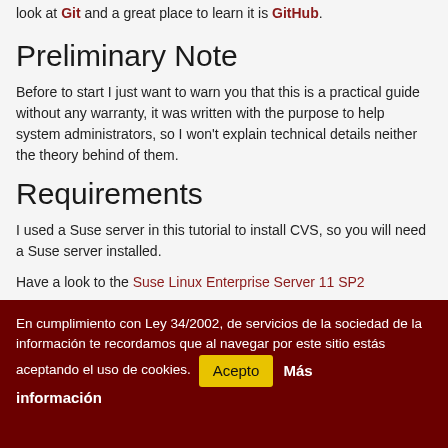look at Git and a great place to learn it is GitHub.
Preliminary Note
Before to start I just want to warn you that this is a practical guide without any warranty, it was written with the purpose to help system administrators, so I won't explain technical details neither the theory behind of them.
Requirements
I used a Suse server in this tutorial to install CVS, so you will need a Suse server installed.
Have a look to the Suse Linux Enterprise Server 11 SP2
En cumplimiento con Ley 34/2002, de servicios de la sociedad de la información te recordamos que al navegar por este sitio estás aceptando el uso de cookies. Acepto Más información